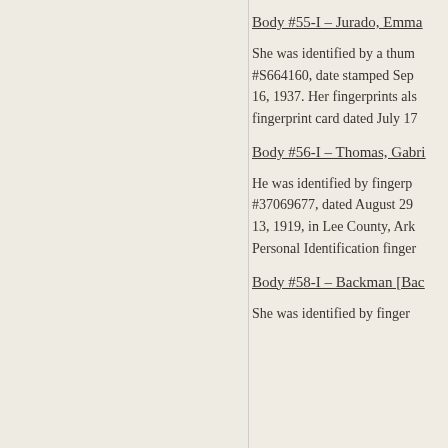Body #55-I – Jurado, Emma
She was identified by a thum #S664160, date stamped Sep 16, 1937. Her fingerprints als fingerprint card dated July 17
Body #56-I – Thomas, Gabri
He was identified by fingerpr #37069677, dated August 29 13, 1919, in Lee County, Ark Personal Identification finger
Body #58-I – Backman [Bac
She was identified by finger